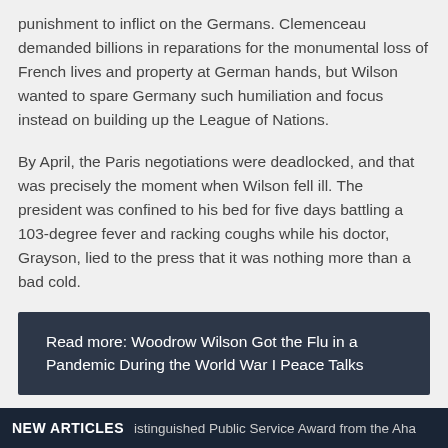punishment to inflict on the Germans. Clemenceau demanded billions in reparations for the monumental loss of French lives and property at German hands, but Wilson wanted to spare Germany such humiliation and focus instead on building up the League of Nations.
By April, the Paris negotiations were deadlocked, and that was precisely the moment when Wilson fell ill. The president was confined to his bed for five days battling a 103-degree fever and racking coughs while his doctor, Grayson, lied to the press that it was nothing more than a bad cold.
Read more: Woodrow Wilson Got the Flu in a Pandemic During the World War I Peace Talks
NEW ARTICLES  istinguished Public Service Award from the Aha